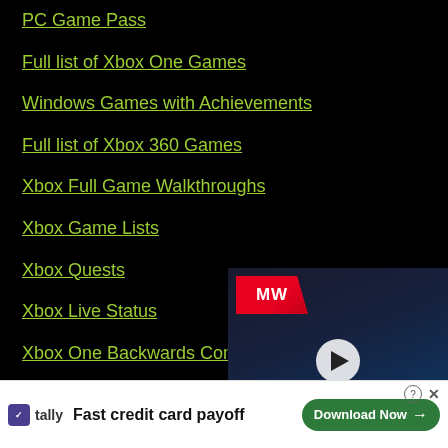PC Game Pass
Full list of Xbox One Games
Windows Games with Achievements
Full list of Xbox 360 Games
Xbox Full Game Walkthroughs
Xbox Game Lists
Xbox Quests
Xbox Live Status
Xbox One Backwards Compatibility
Xbox Cloud Gaming Games
Achievements
[Figure (screenshot): Video ad overlay for 'Alone in the Dark Remake' with MW logo and play button]
[Figure (screenshot): Banner advertisement for Tally app: 'Fast credit card payoff' with Download Now button]